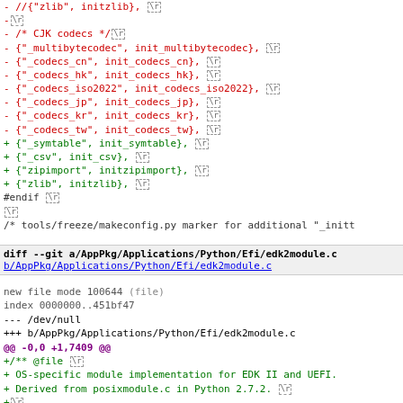code diff showing removed CJK codec entries and added symtable, csv, zipimport, zlib entries, followed by #endif and a diff header for AppPkg/Applications/Python/Efi/edk2module.c
diff --git a/AppPkg/Applications/Python/Efi/edk2module.c b/AppPkg/Applications/Python/Efi/edk2module.c
new file mode 100644 (file)
index 0000000..451bf47
--- /dev/null
+++ b/AppPkg/Applications/Python/Efi/edk2module.c
@@ -0,0 +1,7409 @@
+/** @file \r
+    OS-specific module implementation for EDK II and UEFI.
+    Derived from posixmodule.c in Python 2.7.2. \r
+\r
+    Copyright (c) 2011, Intel Corporation. All rights reserved.
+    This program and the accompanying materials are licensed
+    the terms and conditions of the BSD License that acco